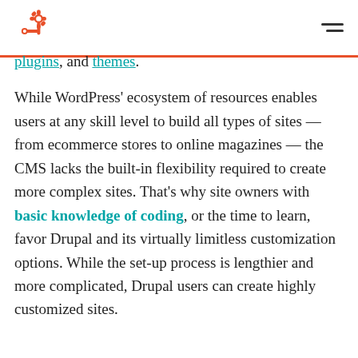HubSpot logo and navigation menu
plugins, and themes.
While WordPress' ecosystem of resources enables users at any skill level to build all types of sites — from ecommerce stores to online magazines — the CMS lacks the built-in flexibility required to create more complex sites. That's why site owners with basic knowledge of coding, or the time to learn, favor Drupal and its virtually limitless customization options. While the set-up process is lengthier and more complicated, Drupal users can create highly customized sites.